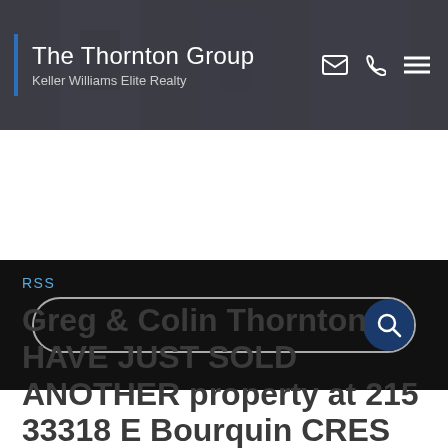The Thornton Group | Keller Williams Elite Realty
[Figure (screenshot): Black search bar with rounded pill-shape outline and dark navy search button with magnifying glass icon on black background]
RSS
Greg & Colin Thornton HAVE JUST SOLD ANOTHER property at 215 33318 E Bourquin CRES in